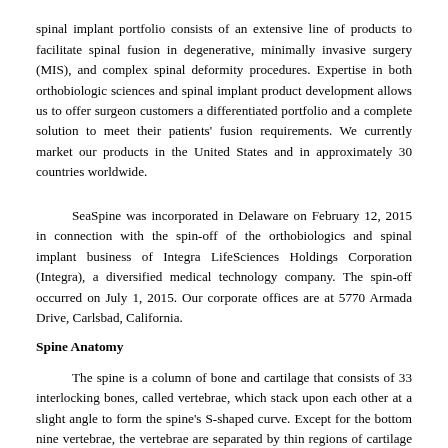spinal implant portfolio consists of an extensive line of products to facilitate spinal fusion in degenerative, minimally invasive surgery (MIS), and complex spinal deformity procedures. Expertise in both orthobiologic sciences and spinal implant product development allows us to offer surgeon customers a differentiated portfolio and a complete solution to meet their patients' fusion requirements. We currently market our products in the United States and in approximately 30 countries worldwide.
SeaSpine was incorporated in Delaware on February 12, 2015 in connection with the spin-off of the orthobiologics and spinal implant business of Integra LifeSciences Holdings Corporation (Integra), a diversified medical technology company. The spin-off occurred on July 1, 2015. Our corporate offices are at 5770 Armada Drive, Carlsbad, California.
Spine Anatomy
The spine is a column of bone and cartilage that consists of 33 interlocking bones, called vertebrae, which stack upon each other at a slight angle to form the spine's S-shaped curve. Except for the bottom nine vertebrae, the vertebrae are separated by thin regions of cartilage known as intervertebral discs, which act as shock absorbers that facilitate motion and absorb stress during movement. The spine protects the spinal cord and acts as the core of the human skeleton, extending from the base of the skull to the pelvis. Soft tissues, including ligaments, tendons and muscles, are attached to the vertebrae and provide stability to the vertebral segment. The spinal cord carries nerves that exit through openings between the vertebrae and deliver sensations and control to the